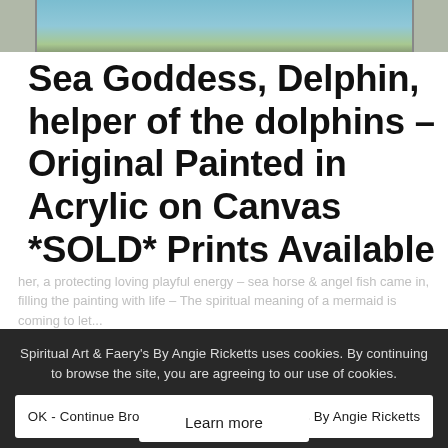[Figure (photo): Top portion of a painting on an easel outdoors, showing blue/teal colors suggesting a sea scene, displayed in a gallery-style border]
Sea Goddess, Delphin, helper of the dolphins – Original Painted in Acrylic on Canvas *SOLD* Prints Available
Spiritual Art & Faery's By Angie Ricketts uses cookies. By continuing to browse the site, you are agreeing to our use of cookies.
OK - Continue Browsing Spiritual Art & Faery's By Angie Ricketts
her, a protecting loving playful energy – sea horse & angel fish came in, filling the painting with life – The spiritual meaning of a mermaid is coming to let...
Learn more